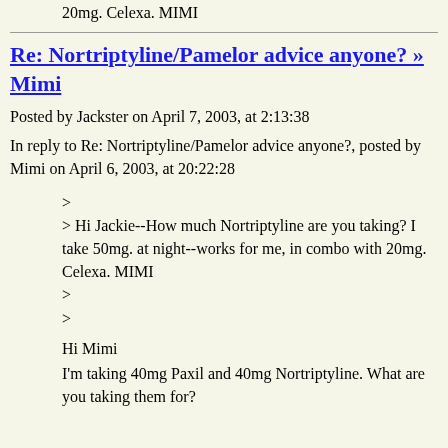20mg. Celexa. MIMI
Re: Nortriptyline/Pamelor advice anyone? » Mimi
Posted by Jackster on April 7, 2003, at 2:13:38
In reply to Re: Nortriptyline/Pamelor advice anyone?, posted by Mimi on April 6, 2003, at 20:22:28
>
> Hi Jackie--How much Nortriptyline are you taking? I take 50mg. at night--works for me, in combo with 20mg. Celexa. MIMI
>
>
Hi Mimi
I'm taking 40mg Paxil and 40mg Nortriptyline. What are you taking them for?